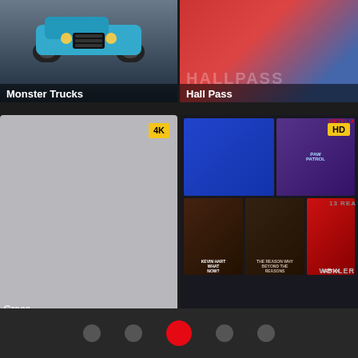[Figure (screenshot): Monster Trucks movie poster / app thumbnail showing a teal monster truck]
Monster Trucks
[Figure (screenshot): Hall Pass movie poster thumbnail showing people in red and blue]
Hall Pass
[Figure (screenshot): John Tucker Must Die movie card with 4K badge, light gray placeholder image]
John Tucker Must Die
[Figure (screenshot): The Muppets Wizard of Oz movie card with HD badge, showing Netflix content grid behind]
The Muppets' Wizard of Oz